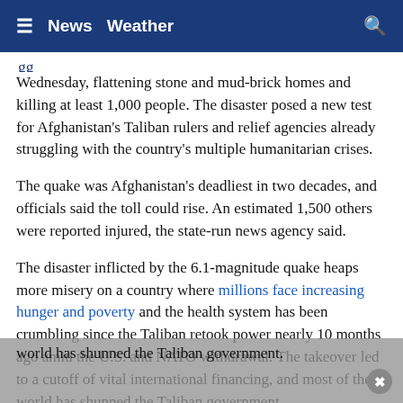≡  News  Weather  🔍
Wednesday, flattening stone and mud-brick homes and killing at least 1,000 people. The disaster posed a new test for Afghanistan's Taliban rulers and relief agencies already struggling with the country's multiple humanitarian crises.
The quake was Afghanistan's deadliest in two decades, and officials said the toll could rise. An estimated 1,500 others were reported injured, the state-run news agency said.
The disaster inflicted by the 6.1-magnitude quake heaps more misery on a country where millions face increasing hunger and poverty and the health system has been crumbling since the Taliban retook power nearly 10 months ago amid the U.S. and NATO withdrawal. The takeover led to a cutoff of vital international financing, and most of the world has shunned the Taliban government.